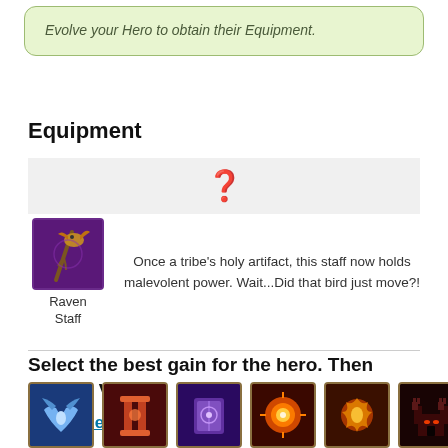Evolve your Hero to obtain their Equipment.
Equipment
[Figure (other): Gray bar with a golden question mark icon in the center]
[Figure (illustration): Raven Staff item icon - a purple/dark staff with bird imagery]
Raven Staff
Once a tribe's holy artifact, this staff now holds malevolent power. Wait...Did that bird just move?!
Select the best gain for the hero. Then click to Vote.
Hero Talents
[Figure (illustration): Row of six hero talent icons: blue winged icon, red pillar icon, purple book icon, orange circle icon, fire/explosion icon, dark castle/demon icon]